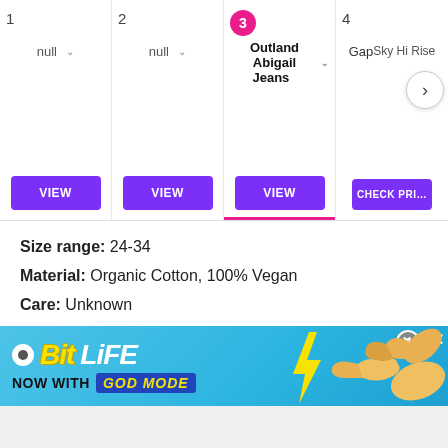[Figure (screenshot): Product comparison carousel with 4 items. Items 1 and 2 show 'null' with VIEW buttons. Item 3 (active, pink circle) shows 'Outland Abigail Jeans' with VIEW button and pink underline. Item 4 shows 'Gap' / 'Sky Hi Rise' with CHECK PRICE button, and a next arrow.]
Size range: 24-34
Material: Organic Cotton, 100% Vegan
Care: Unknown
REASONS TO BUY
+ Super soft and comfy
+ Organic cotton
REASONS TO AVOID
- Can come up small
[Figure (screenshot): BitLife advertisement banner: 'BitLife - NOW WITH GOD MODE' on a blue background with cartoon hand/finger pointing, with close and help buttons.]